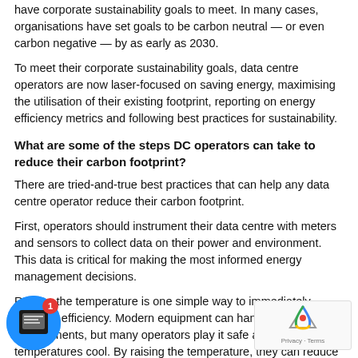have corporate sustainability goals to meet. In many cases, organisations have set goals to be carbon neutral — or even carbon negative — by as early as 2030.
To meet their corporate sustainability goals, data centre operators are now laser-focused on saving energy, maximising the utilisation of their existing footprint, reporting on energy efficiency metrics and following best practices for sustainability.
What are some of the steps DC operators can take to reduce their carbon footprint?
There are tried-and-true best practices that can help any data centre operator reduce their carbon footprint.
First, operators should instrument their data centre with meters and sensors to collect data on their power and environment. This data is critical for making the most informed energy management decisions.
Raising the temperature is one simple way to immediately increase efficiency. Modern equipment can handle warmer environments, but many operators play it safe and keep temperatures cool. By raising the temperature, they can reduce energy consumption by 4-5% for every 1°F increase in server inlet temperature.